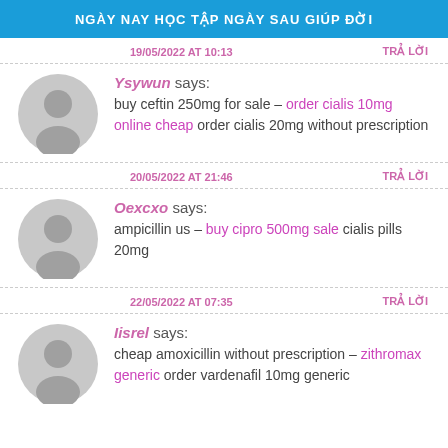NGÀY NAY HỌC TẬP NGÀY SAU GIÚP ĐỜI
19/05/2022 AT 10:13    TRẢ LỜI
Ysywun says: buy ceftin 250mg for sale – order cialis 10mg online cheap order cialis 20mg without prescription
20/05/2022 AT 21:46    TRẢ LỜI
Oexcxo says: ampicillin us – buy cipro 500mg sale cialis pills 20mg
22/05/2022 AT 07:35    TRẢ LỜI
Iisrel says: cheap amoxicillin without prescription – zithromax generic order vardenafil 10mg generic